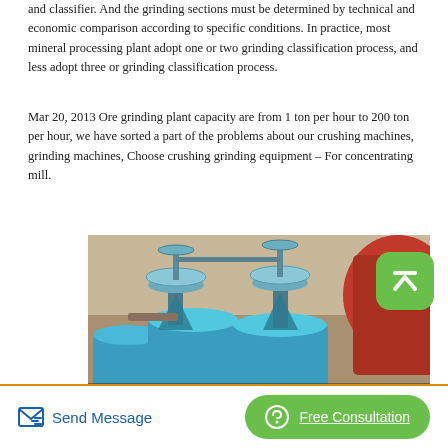and classifier. And the grinding sections must be determined by technical and economic comparison according to specific conditions. In practice, most mineral processing plant adopt one or two grinding classification process, and less adopt three or grinding classification process.
Mar 20, 2013 Ore grinding plant capacity are from 1 ton per hour to 200 ton per hour, we have sorted a part of the problems about our crushing machines, grinding machines, Choose crushing grinding equipment – For concentrating mill.
[Figure (photo): Photo of blue industrial grinding/milling machines (classifier equipment) at a mineral processing plant, with a red component visible on the right. Watermark text 'hkcrusher.en.alibaba.com' overlaid in white at the bottom.]
Send Message   Free Consultation